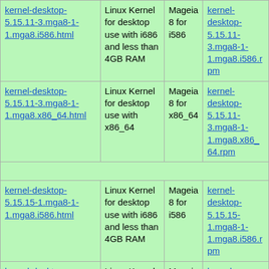| kernel-desktop-5.15.11-3.mga8-1-1.mga8.i586.html | Linux Kernel for desktop use with i686 and less than 4GB RAM | Mageia 8 for i586 | kernel-desktop-5.15.11-3.mga8-1-1.mga8.i586.rpm |
| kernel-desktop-5.15.11-3.mga8-1-1.mga8.x86_64.html | Linux Kernel for desktop use with x86_64 | Mageia 8 for x86_64 | kernel-desktop-5.15.11-3.mga8-1-1.mga8.x86_64.rpm |
| kernel-desktop-5.15.15-1.mga8-1-1.mga8.i586.html | Linux Kernel for desktop use with i686 and less than 4GB RAM | Mageia 8 for i586 | kernel-desktop-5.15.15-1.mga8-1-1.mga8.i586.rpm |
| kernel-desktop-5.15.15-1.mga8-1-1.mga8.x86_64.html | Linux Kernel for desktop use with x86_64 | Mageia 8 for x86_64 | kernel-desktop-5.15.15-1.mga8-1-1.mga8.x86_64.rpm |